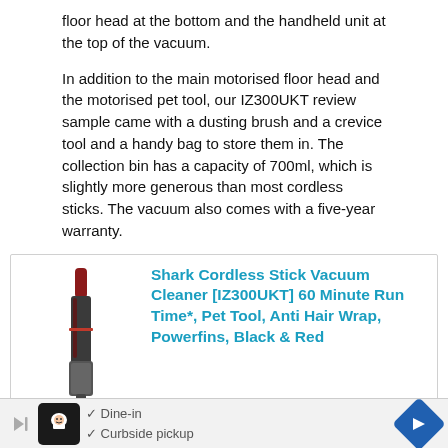floor head at the bottom and the handheld unit at the top of the vacuum.
In addition to the main motorised floor head and the motorised pet tool, our IZ300UKT review sample came with a dusting brush and a crevice tool and a handy bag to store them in. The collection bin has a capacity of 700ml, which is slightly more generous than most cordless sticks. The vacuum also comes with a five-year warranty.
[Figure (other): Amazon product listing box for Shark Cordless Stick Vacuum Cleaner [IZ300UKT] 60 Minute Run Time*, Pet Tool, Anti Hair Wrap, Powerfins, Black & Red, with product image on left and title in cyan on right, amazon.co.uk logo at bottom right.]
[Figure (other): Mobile advertisement banner at bottom of page showing a restaurant/food service ad with chef icon, checkmarks for Dine-in and Curbside pickup text, and a blue navigation arrow icon.]